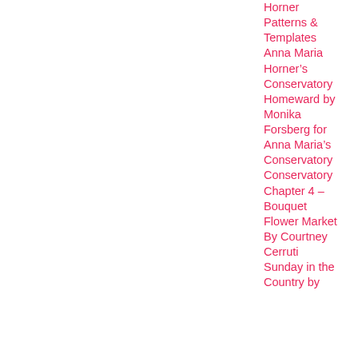Horner Patterns & Templates Anna Maria Horner's Conservatory Homeward by Monika Forsberg for Anna Maria's Conservatory Conservatory Chapter 4 – Bouquet Flower Market By Courtney Cerruti Sunday in the Country by